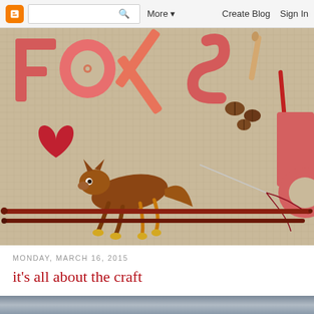Blogger navigation bar with logo, search box, More, Create Blog, Sign In
[Figure (photo): Blog header photo showing craft supplies arranged on burlap: large red/coral foam letters spelling FOXS Lo, a red heart shape, a glass fox figurine, coffee beans, crochet hooks, knitting needles, and red thread with a needle on burlap fabric background.]
MONDAY, MARCH 16, 2015
it's all about the craft
[Figure (photo): Bottom portion of a second blog post photo, partially visible — appears to show fabric or textile close-up.]